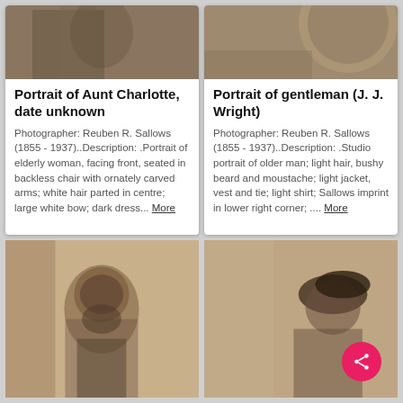[Figure (photo): Vintage sepia portrait photo, upper left — partially visible, showing person seated]
Portrait of Aunt Charlotte, date unknown
Photographer: Reuben R. Sallows (1855 - 1937)..Description: .Portrait of elderly woman, facing front, seated in backless chair with ornately carved arms; white hair parted in centre; large white bow; dark dress... More
[Figure (photo): Vintage sepia portrait photo, upper right — partially visible circular frame detail]
Portrait of gentleman (J. J. Wright)
Photographer: Reuben R. Sallows (1855 - 1937)..Description: .Studio portrait of older man; light hair, bushy beard and moustache; light jacket, vest and tie; light shirt; Sallows imprint in lower right corner; .... More
[Figure (photo): Vintage sepia portrait photo, bottom left — man with beard]
[Figure (photo): Vintage sepia portrait photo, bottom right — woman with hat, share button overlay]